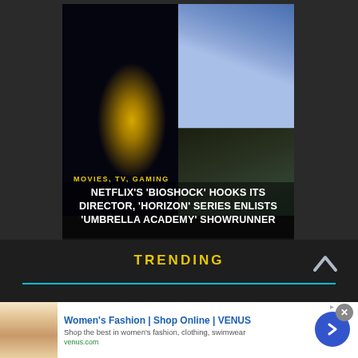[Figure (screenshot): Website article card showing two game images side by side: BioShock (left, dark atmospheric with glowing yellow orbs) and Horizon Zero Dawn (right, colorful action character). A third darker image is partially visible in the bottom-right corner.]
MOVIES, TV, GAMING
NETFLIX'S 'BIOSHOCK' HOOKS ITS DIRECTOR, 'HORIZON' SERIES ENLISTS 'UMBRELLA ACADEMY' SHOWRUNNER
TRENDING
Women's Fashion | Shop Online | VENUS
Shop the best in women's fashion, clothing, swimwear
venus.com